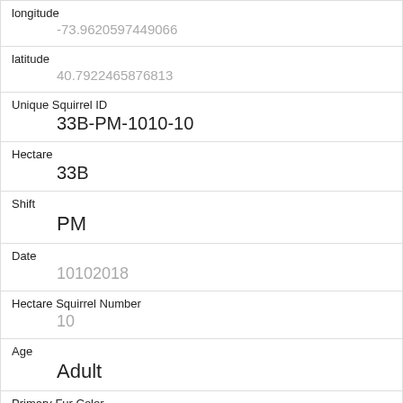| Field | Value |
| --- | --- |
| longitude | -73.9620597449066 |
| latitude | 40.7922465876813 |
| Unique Squirrel ID | 33B-PM-1010-10 |
| Hectare | 33B |
| Shift | PM |
| Date | 10102018 |
| Hectare Squirrel Number | 10 |
| Age | Adult |
| Primary Fur Color | Gray |
| Highlight Fur Color |  |
| Combination of Primary and Highlight Color | Gray+ |